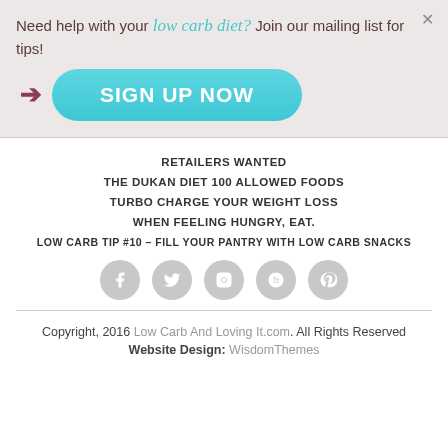Need help with your low carb diet? Join our mailing list for tips!
[Figure (other): Arrow icon pointing right and a teal SIGN UP NOW button]
RETAILERS WANTED
THE DUKAN DIET 100 ALLOWED FOODS
TURBO CHARGE YOUR WEIGHT LOSS
WHEN FEELING HUNGRY, EAT.
LOW CARB TIP #10 – FILL YOUR PANTRY WITH LOW CARB SNACKS
[Figure (other): Row of 5 gray circular social media icons: Facebook, Twitter, Instagram, Google+, Pinterest]
Copyright, 2016 Low Carb And Loving It.com. All Rights Reserved
Website Design: WisdomThemes